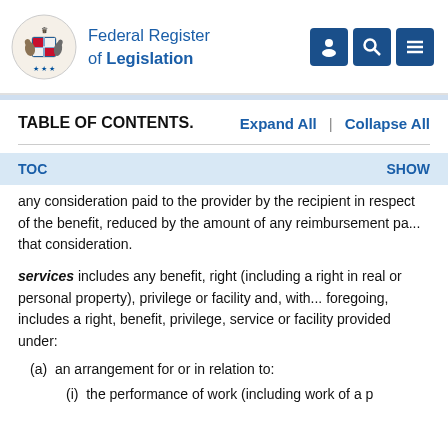Federal Register of Legislation
TABLE OF CONTENTS.
any consideration paid to the provider by the recipient in respect of the benefit, reduced by the amount of any reimbursement paid by the provider in respect of that consideration.
services includes any benefit, right (including a right in real or personal property), privilege or facility and, without limiting the foregoing, includes a right, benefit, privilege, service or facility provided under:
(a) an arrangement for or in relation to:
(i) the performance of work (including work of a p